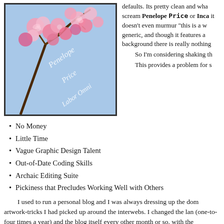[Figure (photo): Cherry blossom photo with cursive script overlay reading 'Penelope Price' or similar, pink blossoms against blue sky, with dark border]
defaults. Its pretty clean and wha scream Penelope Price or Inca it doesn't even murmur "this is a w generic, and though it features a background there is really nothing So I'm considering shaking th This provides a problem for s
No Money
Little Time
Vague Graphic Design Talent
Out-of-Date Coding Skills
Archaic Editing Suite
Pickiness that Precludes Working Well with Others
I used to run a personal blog and I was always dressing up the dom artwork-tricks I had picked up around the interwebs. I changed the lan (one-to-four times a year) and the blog itself every other month or so. with the aesthetics of PP.net because – God knows – I will never be sa the interwebs for artwork and photographs and then start burning the m learn my former skills at Paint Shop Pro to make them look pretty and get the layout just right. I will have to learn the coding behind Word Pre to work with the Word Press engine. I will- oh my gosh, I'm giddy and